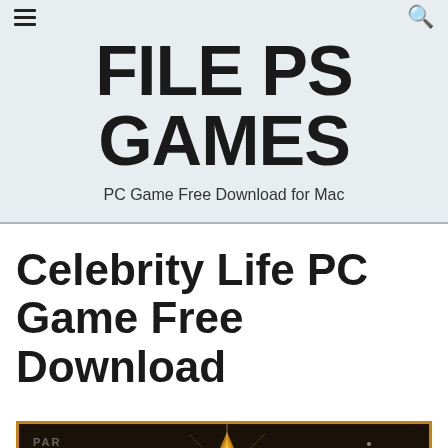FILE PS GAMES — PC Game Free Download for Mac
Celebrity Life PC Game Free Download
[Figure (screenshot): Dark screenshot of Celebrity Life PC game, showing a glowing golden star emblem with sparkle effects against a dark background, with 'PART...' text visible on left and silhouetted figures]